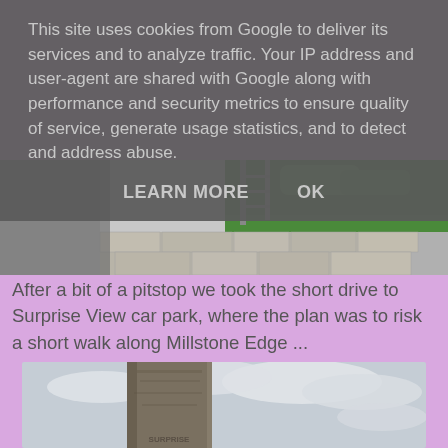This site uses cookies from Google to deliver its services and to analyze traffic. Your IP address and user-agent are shared with Google along with performance and security metrics to ensure quality of service, generate usage statistics, and to detect and address abuse.
LEARN MORE    OK
[Figure (photo): Partial view of a stone wall with green hedging/bushes and what appears to be a metal structure above, visible only at the bottom of the overlaid cookie notice area.]
After a bit of a pitstop we took the short drive to Surprise View car park, where the plan was to risk a short walk along Millstone Edge ...
[Figure (photo): A large stone monolith or sign post standing against a cloudy sky. The stone has carved text reading 'SURPRISE' at the bottom. A travel/tourism landmark photo.]